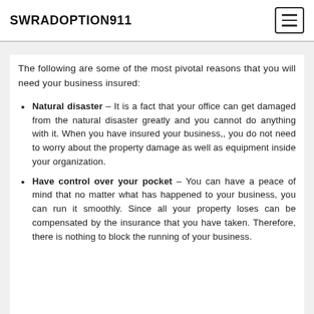SWRADOPTION911
The following are some of the most pivotal reasons that you will need your business insured:
Natural disaster – It is a fact that your office can get damaged from the natural disaster greatly and you cannot do anything with it. When you have insured your business,, you do not need to worry about the property damage as well as equipment inside your organization.
Have control over your pocket – You can have a peace of mind that no matter what has happened to your business, you can run it smoothly. Since all your property loses can be compensated by the insurance that you have taken. Therefore, there is nothing to block the running of your business.